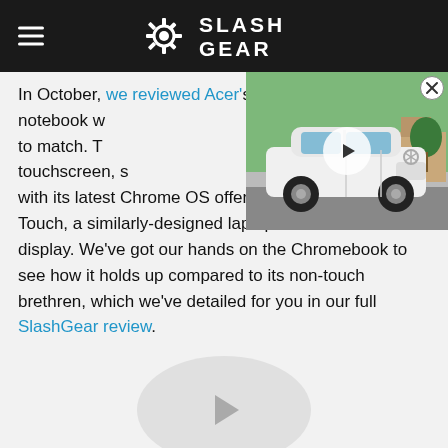SlashGear
[Figure (screenshot): Video thumbnail showing a white Mercedes-Benz SUV (EQB) with a play button overlay, overlaid on the article text in the top right. A close button (X) is visible in the top right corner.]
In October, we reviewed Acer's Haswell-harboring notebook with and performance to match. The however, was a touchscreen, s addressed with its latest Chrome OS offering: the Acer C720P Touch, a similarly-designed laptop with a touchscreen display. We've got our hands on the Chromebook to see how it holds up compared to its non-touch brethren, which we've detailed for you in our full SlashGear review.
[Figure (other): Circular video player placeholder/thumbnail at the bottom of the page with a play button triangle icon in gray.]